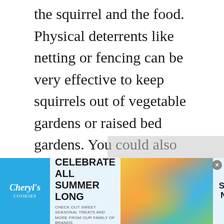the squirrel and the food. Physical deterrents like netting or fencing can be very effective to keep squirrels out of vegetable gardens or raised bed gardens. You could also put a metal or plastic collar of about 2 feet wide around fruit trees to discourage climbers.
Use squirrel-resistant bird feeders,
[Figure (infographic): Advertisement banner for Cheryl's Cookies: 'CELEBRATE ALL SUMMER LONG - CHECK OUT SWEET SEASONAL TREATS AND MORE FROM OUR FAMILY OF BRANDS.' with a SHOP NOW call to action and a colorful image of summer food/treats.]